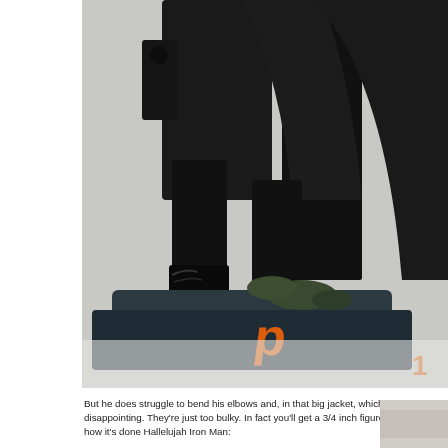[Figure (photo): Close-up photo of the lower body and base of a dark armored action figure/statue, showing black boots, legs, and a dark blue base with orange logo lettering partially visible.]
But he does struggle to bend his elbows and, in that big jacket, which is disappointing. They're just too bulky. In fact you'll get a 3/4 inch figures. Show them how it's done Hallelujah Iron Man:
[Figure (photo): Partial view of another figure, light background, bottom portion visible.]